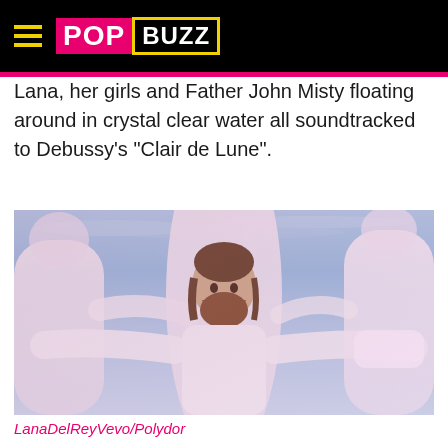POPBUZZ
Lana, her girls and Father John Misty floating around in crystal clear water all soundtracked to Debussy's "Clair de Lune".
[Figure (photo): Underwater scene showing a bearded man in a white long-sleeve shirt floating in crystal clear blue water, surrounded by women in white clothing, with a pink tint overlay. Music video still.]
LanaDelReyVevo/Polydor